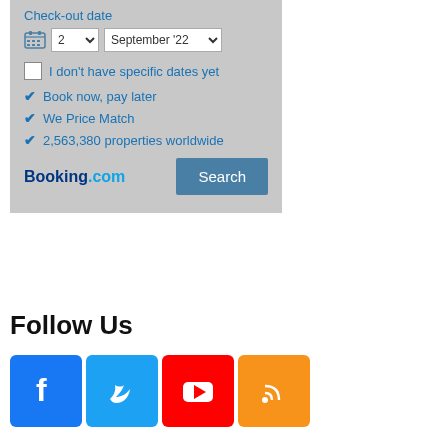[Figure (screenshot): Booking.com widget showing check-out date selector with day '2' and month 'September '22', a checkbox for 'I don't have specific dates yet', checkmarks for 'Book now, pay later', 'We Price Match', '2,563,380 properties worldwide', Booking.com logo, and a Search button]
Follow Us
[Figure (infographic): Row of four social media icons: Facebook (blue), Twitter (light blue), YouTube (red), RSS feed (orange)]